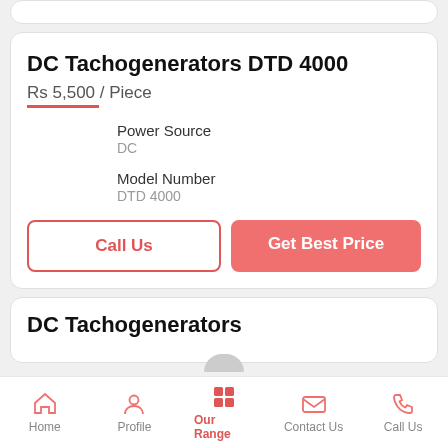DC Tachogenerators DTD 4000
Rs 5,500 / Piece
| Property | Value |
| --- | --- |
| Power Source | DC |
| Model Number | DTD 4000 |
Call Us
Get Best Price
DC Tachogenerators
Home | Profile | Our Range | Contact Us | Call Us